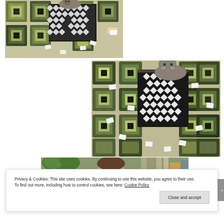[Figure (photo): A cat sitting on top of a black and white patterned box/container placed on a colorful square-patterned rug. A person's hand is visible offering something to the cat. The rug has squares in shades of green, olive, beige, and dark brown.]
[Figure (photo): A larger photo of a gray tabby cat sitting inside or on top of a black and white patterned fabric box/basket, placed on the same colorful square-patterned rug. Multiple small white paper cards are scattered around on the rug.]
[Figure (photo): Partial view of another photo showing a room interior with green plants, a person's head/hair visible, and some shelving or furniture in the background.]
Privacy & Cookies: This site uses cookies. By continuing to use this website, you agree to their use.
To find out more, including how to control cookies, see here: Cookie Policy
Close and accept